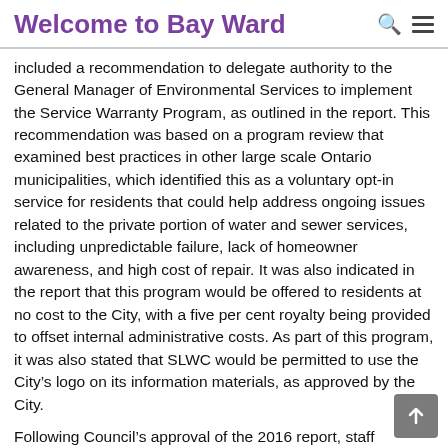Welcome to Bay Ward
included a recommendation to delegate authority to the General Manager of Environmental Services to implement the Service Warranty Program, as outlined in the report. This recommendation was based on a program review that examined best practices in other large scale Ontario municipalities, which identified this as a voluntary opt-in service for residents that could help address ongoing issues related to the private portion of water and sewer services, including unpredictable failure, lack of homeowner awareness, and high cost of repair. It was also indicated in the report that this program would be offered to residents at no cost to the City, with a five per cent royalty being provided to offset internal administrative costs. As part of this program, it was also stated that SLWC would be permitted to use the City's logo on its information materials, as approved by the City.
Following Council's approval of the 2016 report, staff